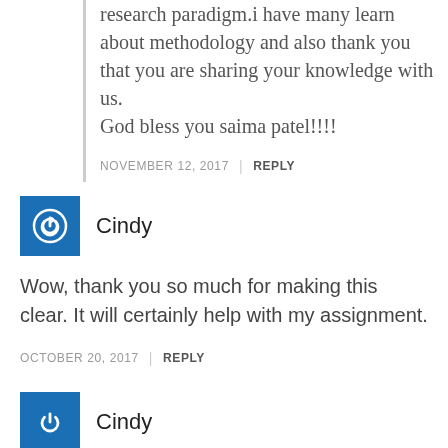happy that i found is the meaning of research paradigm.i have many learn about methodology and also thank you that you are sharing your knowledge with us.
God bless you saima patel!!!!
NOVEMBER 12, 2017 | REPLY
Cindy
Wow, thank you so much for making this clear. It will certainly help with my assignment.
OCTOBER 20, 2017 | REPLY
Cindy